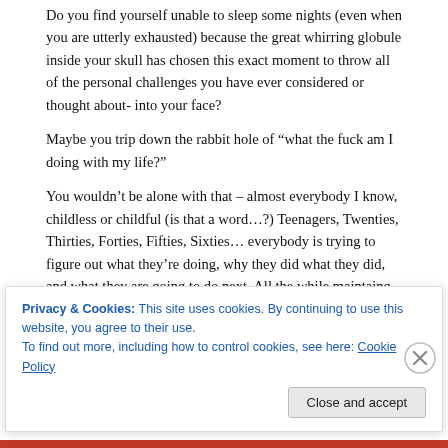Do you find yourself unable to sleep some nights (even when you are utterly exhausted) because the great whirring globule inside your skull has chosen this exact moment to throw all of the personal challenges you have ever considered or thought about- into your face?
Maybe you trip down the rabbit hole of “what the fuck am I doing with my life?”
You wouldn’t be alone with that – almost everybody I know, childless or childful (is that a word…?) Teenagers, Twenties, Thirties, Forties, Fifties, Sixties… everybody is trying to figure out what they’re doing, why they did what they did, and what they are going to do next. All the while maintaing an immaculately maintained and crafted image of themselves on Social Media.
Privacy & Cookies: This site uses cookies. By continuing to use this website, you agree to their use.
To find out more, including how to control cookies, see here: Cookie Policy